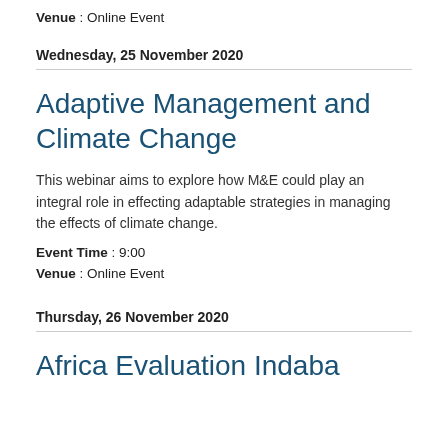Venue : Online Event
Wednesday, 25 November 2020
Adaptive Management and Climate Change
This webinar aims to explore how M&E could play an integral role in effecting adaptable strategies in managing the effects of climate change.
Event Time : 9:00
Venue : Online Event
Thursday, 26 November 2020
Africa Evaluation Indaba